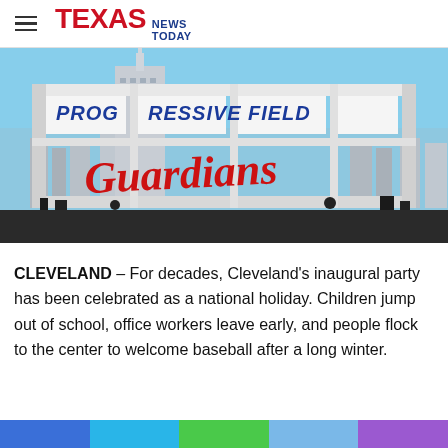TEXAS NEWS TODAY
[Figure (photo): Progressive Field sign with Guardians script lettering in red, with city skyline and tower building in background against blue sky]
CLEVELAND – For decades, Cleveland's inaugural party has been celebrated as a national holiday. Children jump out of school, office workers leave early, and people flock to the center to welcome baseball after a long winter.